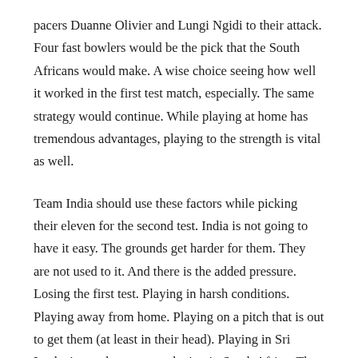pacers Duanne Olivier and Lungi Ngidi to their attack. Four fast bowlers would be the pick that the South Africans would make. A wise choice seeing how well it worked in the first test match, especially. The same strategy would continue. While playing at home has tremendous advantages, playing to the strength is vital as well.
Team India should use these factors while picking their eleven for the second test. India is not going to have it easy. The grounds get harder for them. They are not used to it. And there is the added pressure. Losing the first test. Playing in harsh conditions. Playing away from home. Playing on a pitch that is out to get them (at least in their head). Playing in Sri Lanka is not the same as playing in South Africa. The men in blue hopefully get this in time and play with their heads straight on.